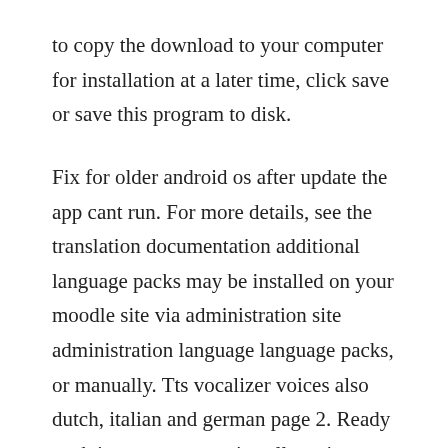to copy the download to your computer for installation at a later time, click save or save this program to disk.
Fix for older android os after update the app cant run. For more details, see the translation documentation additional language packs may be installed on your moodle site via administration site administration language language packs, or manually. Tts vocalizer voices also dutch, italian and german page 2. Ready pack just copy, paste, install, set it according to your needs and run. Get in touch